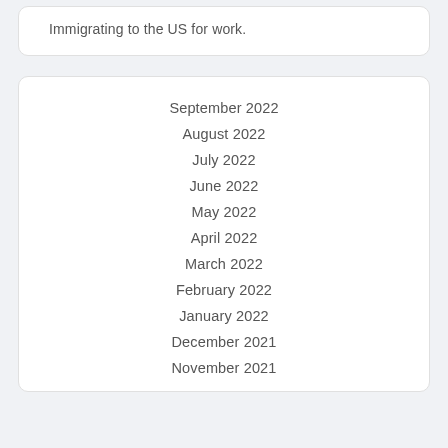Immigrating to the US for work.
September 2022
August 2022
July 2022
June 2022
May 2022
April 2022
March 2022
February 2022
January 2022
December 2021
November 2021